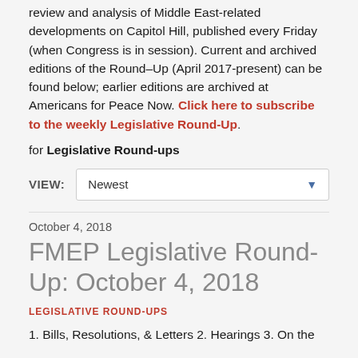review and analysis of Middle East-related developments on Capitol Hill, published every Friday (when Congress is in session). Current and archived editions of the Round–Up (April 2017-present) can be found below; earlier editions are archived at Americans for Peace Now. Click here to subscribe to the weekly Legislative Round-Up.
for Legislative Round-ups
VIEW: Newest
October 4, 2018
FMEP Legislative Round-Up: October 4, 2018
LEGISLATIVE ROUND-UPS
1. Bills, Resolutions, & Letters 2. Hearings 3. On the